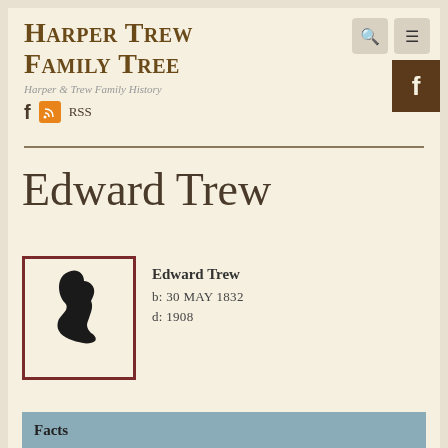Harper Trew Family Tree
Harper & Trew Family History
Edward Trew
[Figure (illustration): Black silhouette of a child's profile facing left, inside a red-bordered box]
Edward Trew
b: 30 MAY 1832
d: 1908
Facts